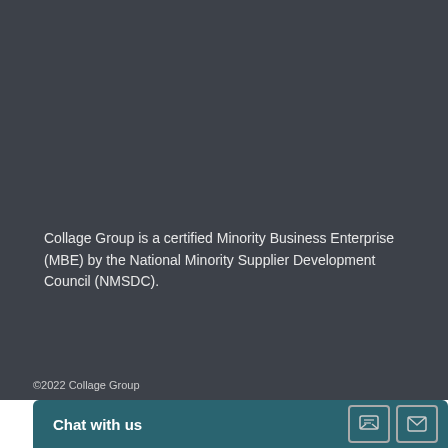Collage Group is a certified Minority Business Enterprise (MBE) by the National Minority Supplier Development Council (NMSDC).
©2022 Collage Group
Chat with us